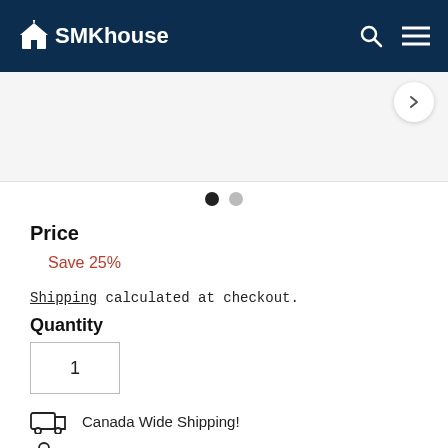SMKhouse
[Figure (screenshot): Product image slider area with navigation arrow button]
● ●
Price
Save 25%
Shipping calculated at checkout.
Quantity
1
Canada Wide Shipping!
Secure payments and E-Transfer